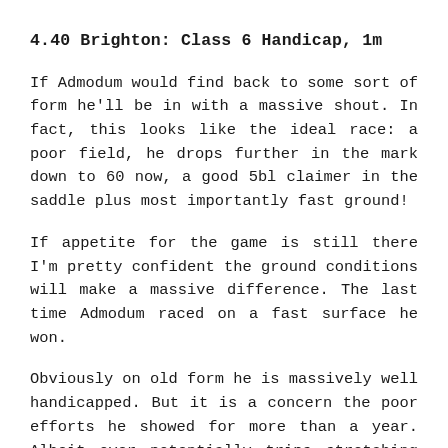4.40 Brighton: Class 6 Handicap, 1m
If Admodum would find back to some sort of form he'll be in with a massive shout. In fact, this looks like the ideal race: a poor field, he drops further in the mark down to 60 now, a good 5bl claimer in the saddle plus most importantly fast ground!
If appetite for the game is still there I'm pretty confident the ground conditions will make a massive difference. The last time Admodum raced on a fast surface he won.
Obviously on old form he is massively well handicapped. But it is a concern the poor efforts he showed for more than a year. Albeit over potentially trips stretching him or ground not quite as suitable. Second start off a break for the new yard today, while the market speaks favourably – big shout.